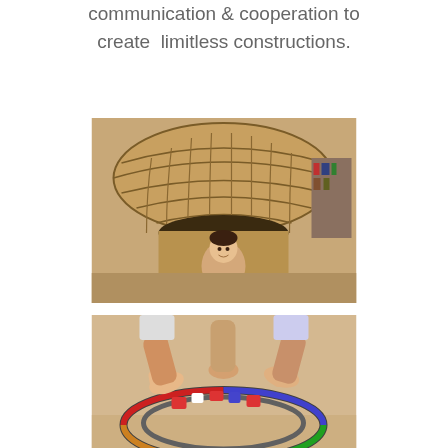communication & cooperation to create  limitless constructions.
[Figure (photo): A child sitting inside a large dome-like structure built from interlocked wooden sticks or rulers, smiling at the camera.]
[Figure (photo): Multiple hands of children collaboratively assembling a colorful geometric ring or dome structure made of interlocked colored blocks or sticks.]
[Figure (photo): A group of children sitting on the floor around a large construction built from wooden blocks, collaboratively creating a town or city structure.]